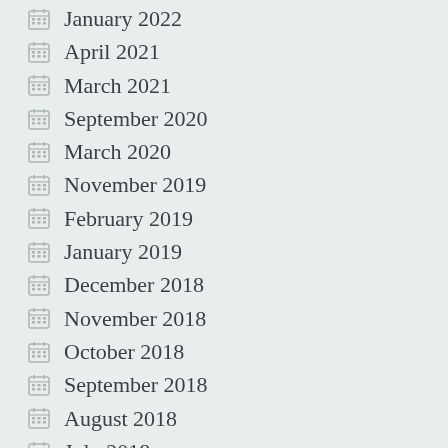January 2022
April 2021
March 2021
September 2020
March 2020
November 2019
February 2019
January 2019
December 2018
November 2018
October 2018
September 2018
August 2018
July 2018
June 2018